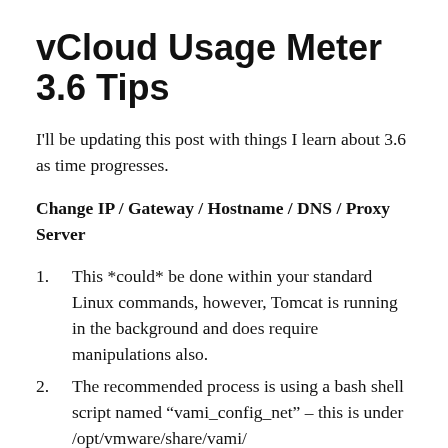vCloud Usage Meter 3.6 Tips
I'll be updating this post with things I learn about 3.6 as time progresses.
Change IP / Gateway / Hostname / DNS / Proxy Server
This *could* be done within your standard Linux commands, however, Tomcat is running in the background and does require manipulations also.
The recommended process is using a bash shell script named “vami_config_net” – this is under /opt/vmware/share/vami/